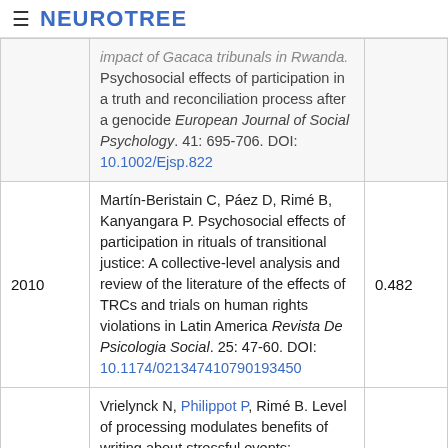≡ NEUROTREE
| Year | Reference | Score |
| --- | --- | --- |
|  | impact of Gacaca tribunals in Rwanda. Psychosocial effects of participation in a truth and reconciliation process after a genocide European Journal of Social Psychology. 41: 695-706. DOI: 10.1002/Ejsp.822 |  |
| 2010 | Martín-Beristain C, Páez D, Rimé B, Kanyangara P. Psychosocial effects of participation in rituals of transitional justice: A collective-level analysis and review of the literature of the effects of TRCs and trials on human rights violations in Latin America Revista De Psicologia Social. 25: 47-60. DOI: 10.1174/021347410790193450 | 0.482 |
| 2010 | Vrielynck N, Philippot P, Rimé B. Level of processing modulates benefits of writing about stressful events: Comparing generic and specific recall Cognition & Emotion. 24: 1117-1132. DOI: 10.1080/02699930903172161 | 0.588 |
| 2010 | Rimé B, Paez D, Basabe N, Martinez F. Social sharing of emotions at transitions on the... | 0.615 |